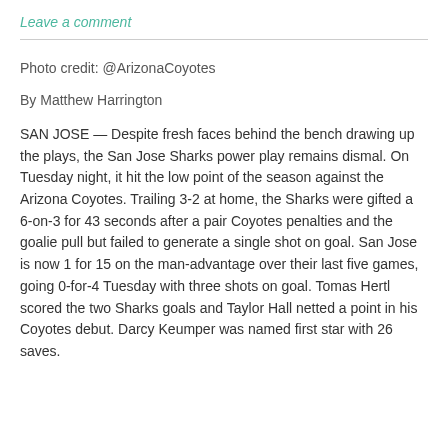Leave a comment
Photo credit: @ArizonaCoyotes
By Matthew Harrington
SAN JOSE — Despite fresh faces behind the bench drawing up the plays, the San Jose Sharks power play remains dismal. On Tuesday night, it hit the low point of the season against the Arizona Coyotes. Trailing 3-2 at home, the Sharks were gifted a 6-on-3 for 43 seconds after a pair Coyotes penalties and the goalie pull but failed to generate a single shot on goal. San Jose is now 1 for 15 on the man-advantage over their last five games, going 0-for-4 Tuesday with three shots on goal. Tomas Hertl scored the two Sharks goals and Taylor Hall netted a point in his Coyotes debut. Darcy Keumper was named first star with 26 saves.